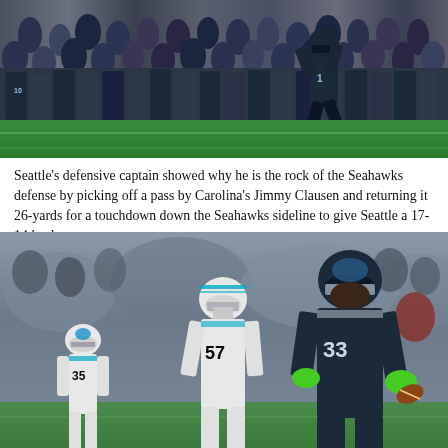[Figure (photo): Football action photo showing a Seattle Seahawks player (number 10) jumping/running along the sideline with a crowd of players and spectators visible in the background on a green field.]
Seattle's defensive captain showed why he is the rock of the Seahawks defense by picking off a pass by Carolina's Jimmy Clausen and returning it 26-yards for a touchdown down the Seahawks sideline to give Seattle a 17-14 lead.
[Figure (photo): Football action photo showing a Seattle Seahawks player (number 33) running with the football past Carolina Panthers defenders (numbers 57 and 35) who are chasing him, with a blurred crowd in the background.]